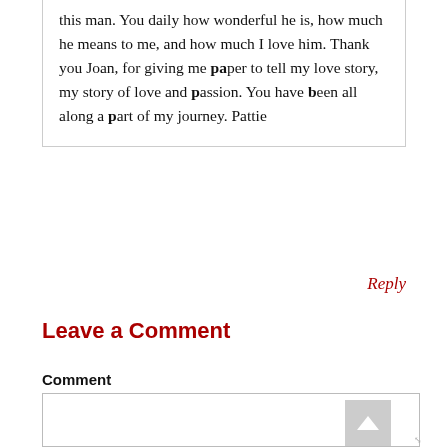this man. You daily how wonderful he is, how much he means to me, and how much I love him. Thank you Joan, for giving me paper to tell my love story, my story of love and passion. You have been all along a part of my journey. Pattie
Reply
Leave a Comment
Comment
[Figure (other): Empty comment textarea input box with resize handle]